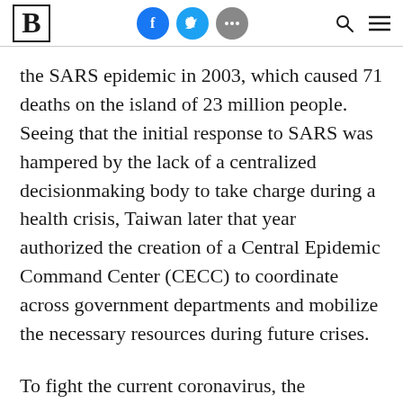Brookings Institution article page header with logo, social icons, search and menu
the SARS epidemic in 2003, which caused 71 deaths on the island of 23 million people. Seeing that the initial response to SARS was hampered by the lack of a centralized decisionmaking body to take charge during a health crisis, Taiwan later that year authorized the creation of a Central Epidemic Command Center (CECC) to coordinate across government departments and mobilize the necessary resources during future crises.
To fight the current coronavirus, the administration of President Tsai Ing-wen activated the CECC as early as January 20, with the minister of health and